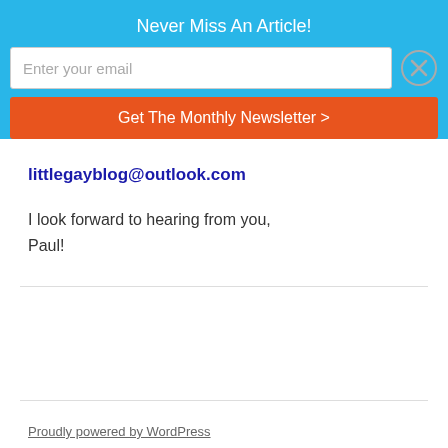Never Miss An Article!
Enter your email
Get The Monthly Newsletter >
littlegayblog@outlook.com
I look forward to hearing from you,
Paul!
Proudly powered by WordPress